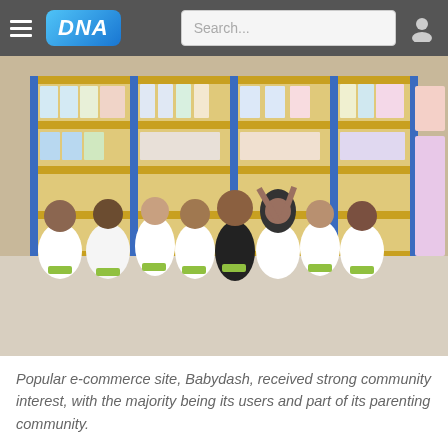DNA | Search...
[Figure (photo): A group of approximately 12 people posing together in a warehouse/stockroom setting. Most are wearing white Babydash branded t-shirts. They are smiling and making gestures. The background shows yellow metal shelving units stocked with various baby and household products.]
Popular e-commerce site, Babydash, received strong community interest, with the majority being its users and part of its parenting community.